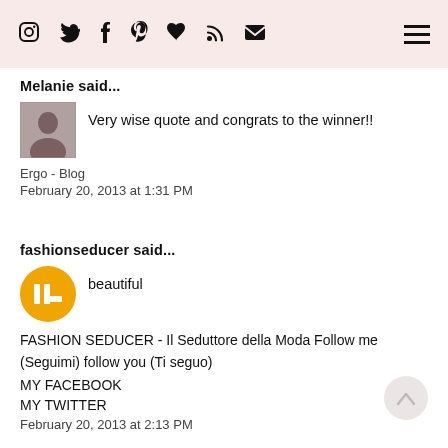Instagram Twitter Facebook Pinterest Bloglovin RSS Email | Menu
Melanie said...
Very wise quote and congrats to the winner!!
Ergo - Blog
February 20, 2013 at 1:31 PM
fashionseducer said...
beautiful
FASHION SEDUCER - Il Seduttore della Moda Follow me (Seguimi) follow you (Ti seguo)
MY FACEBOOK
MY TWITTER
February 20, 2013 at 2:13 PM